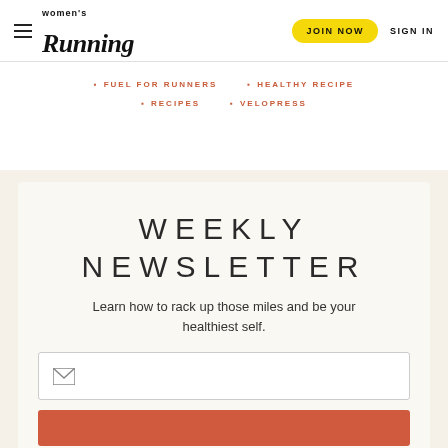Women's Running — JOIN NOW  SIGN IN
FUEL FOR RUNNERS
HEALTHY RECIPE
RECIPES
VELOPRESS
WEEKLY NEWSLETTER
Learn how to rack up those miles and be your healthiest self.
[Figure (other): Email input field with envelope icon and salmon-colored subscribe button below]